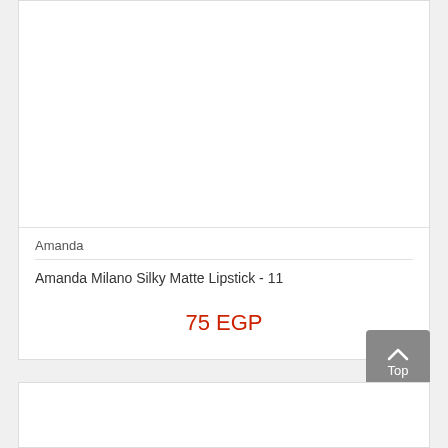Amanda
Amanda Milano Silky Matte Lipstick - 11
75 EGP
[Figure (other): Empty white product image area for Amanda Milano Silky Matte Lipstick]
[Figure (other): Partial second product card at bottom of page]